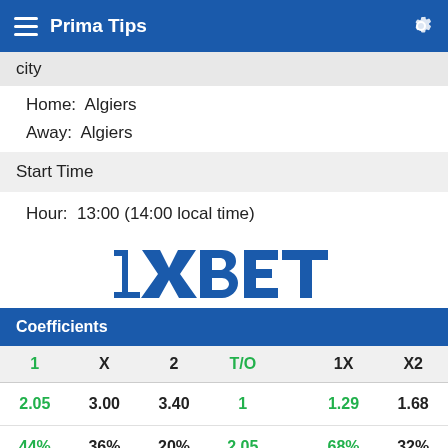Prima Tips
city
Home:  Algiers
Away:  Algiers
Start Time
Hour:  13:00 (14:00 local time)
[Figure (logo): 1XBET logo in blue]
| 1 | X | 2 | T/O |  | 1X | X2 |
| --- | --- | --- | --- | --- | --- | --- |
| 2.05 | 3.00 | 3.40 | 1 |  | 1.29 | 1.68 |
| 44% | 36% | 20% | 2.05 |  | 68% | 32% |